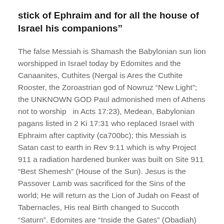stick of Ephraim and for all the house of Israel his companions”
The false Messiah is Shamash the Babylonian sun lion worshipped in Israel today by Edomites and the Canaanites, Cuthites (Nergal is Ares the Cuthite Rooster, the Zoroastrian god of Nowruz “New Light”; the UNKNOWN GOD Paul admonished men of Athens not to worship  in Acts 17:23), Medean, Babylonian pagans listed in 2 Ki 17:31 who replaced Israel with Ephraim after captivity (ca700bc); this Messiah is Satan cast to earth in Rev 9:11 which is why Project 911 a radiation hardened bunker was built on Site 911 “Best Shemesh” (House of the Sun). Jesus is the Passover Lamb was sacrificed for the Sins of the world; He will return as the Lion of Judah on Feast of Tabernacles, His real Birth changed to Succoth “Saturn”. Edomites are “Inside the Gates” (Obadiah) impersonating God’s people who are still